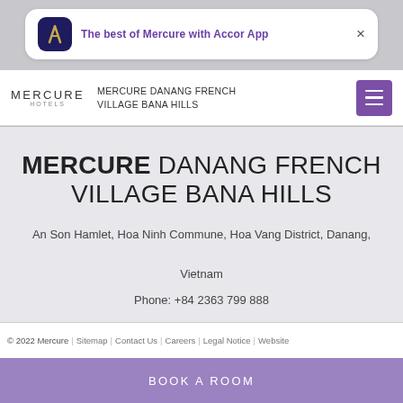[Figure (screenshot): Accor App notification banner with Mercure logo icon and text 'The best of Mercure with Accor App' and close button]
MERCURE DANANG FRENCH VILLAGE BANA HILLS
MERCURE DANANG FRENCH VILLAGE BANA HILLS
An Son Hamlet, Hoa Ninh Commune, Hoa Vang District, Danang, Vietnam
Phone: +84 2363 799 888
© 2022 Mercure | Sitemap | Contact Us | Careers | Legal Notice | Website
BOOK A ROOM